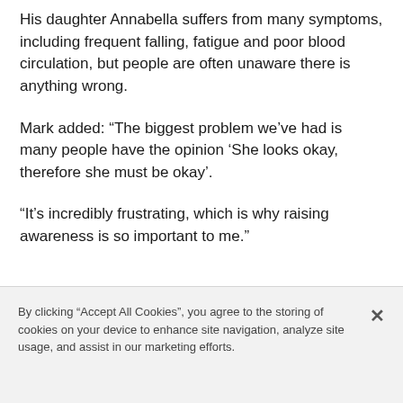His daughter Annabella suffers from many symptoms, including frequent falling, fatigue and poor blood circulation, but people are often unaware there is anything wrong.
Mark added: “The biggest problem we’ve had is many people have the opinion ‘She looks okay, therefore she must be okay’.
“It’s incredibly frustrating, which is why raising awareness is so important to me.”
By clicking “Accept All Cookies”, you agree to the storing of cookies on your device to enhance site navigation, analyze site usage, and assist in our marketing efforts.